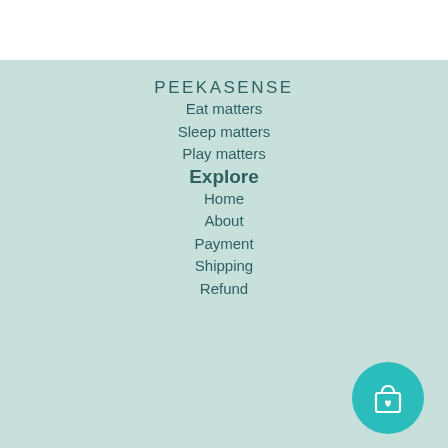PEEKASENSE
Eat matters
Sleep matters
Play matters
Explore
Home
About
Payment
Shipping
Refund
[Figure (illustration): Teal circular button with a shopping bag and heart icon in the bottom-right corner]